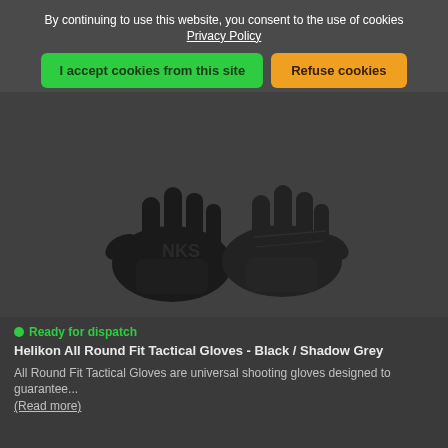By continuing to use this website, you consent to the use of cookies
Privacy Policy
I accept cookies from this site
Refuse cookies
[Figure (photo): Two black tactical gloves displayed side by side on a dark background, showing palm and back views.]
Ready for dispatch
Helikon All Round Fit Tactical Gloves - Black / Shadow Grey
All Round Fit Tactical Gloves are universal shooting gloves designed to guarantee...
(Read more)